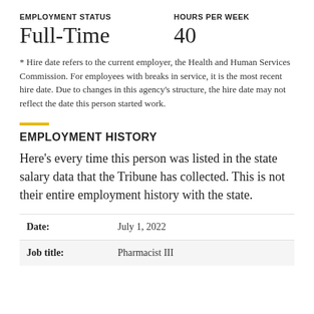EMPLOYMENT STATUS
HOURS PER WEEK
Full-Time
40
* Hire date refers to the current employer, the Health and Human Services Commission. For employees with breaks in service, it is the most recent hire date. Due to changes in this agency’s structure, the hire date may not reflect the date this person started work.
EMPLOYMENT HISTORY
Here’s every time this person was listed in the state salary data that the Tribune has collected. This is not their entire employment history with the state.
| Field | Value |
| --- | --- |
| Date: | July 1, 2022 |
| Job title: | Pharmacist III |